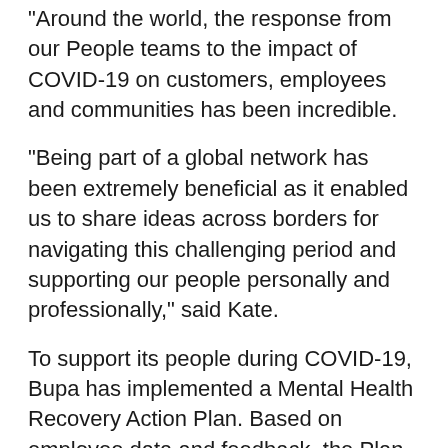“Around the world, the response from our People teams to the impact of COVID-19 on customers, employees and communities has been incredible.
“Being part of a global network has been extremely beneficial as it enabled us to share ideas across borders for navigating this challenging period and supporting our people personally and professionally,” said Kate.
To support its people during COVID-19, Bupa has implemented a Mental Health Recovery Action Plan. Based on employee data and feedback, the Plan addresses the unique mental health impacts associated with the pandemic. It has also led to the development of a variety of flexible resources available to employees in the workplace and those working from home.
This has included the development of the Mindfulness Academy, a 6-week program where